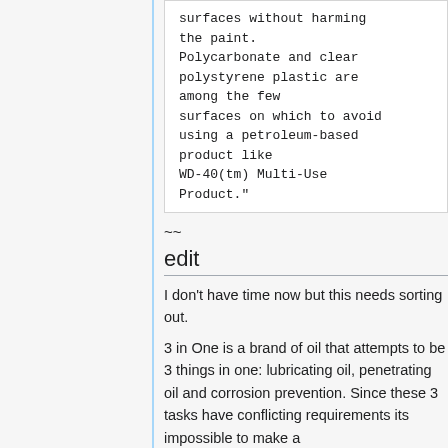surfaces without harming the paint. Polycarbonate and clear polystyrene plastic are among the few surfaces on which to avoid using a petroleum-based product like WD-40(tm) Multi-Use Product."
~~
edit
I don't have time now but this needs sorting out.
3 in One is a brand of oil that attempts to be 3 things in one: lubricating oil, penetrating oil and corrosion prevention. Since these 3 tasks have conflicting requirements its impossible to make a